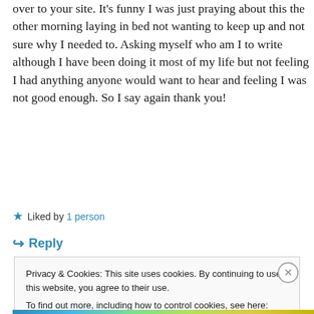over to your site. It's funny I was just praying about this the other morning laying in bed not wanting to keep up and not sure why I needed to. Asking myself who am I to write although I have been doing it most of my life but not feeling I had anything anyone would want to hear and feeling I was not good enough. So I say again thank you!
★ Liked by 1 person
↪ Reply
Privacy & Cookies: This site uses cookies. By continuing to use this website, you agree to their use.
To find out more, including how to control cookies, see here: Cookie Policy
Close and accept